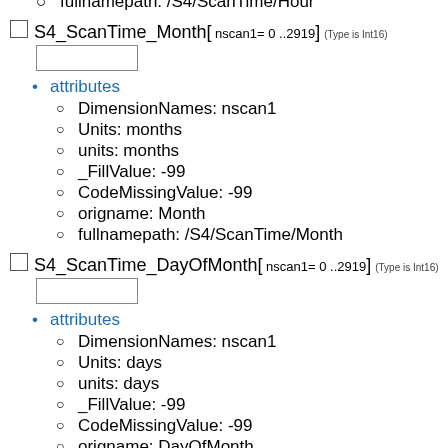fullnamepath: /S4/ScanTime/Hour
S4_ScanTime_Month[ nscan1= 0 ..2919] (Type is Int16)
attributes
DimensionNames: nscan1
Units: months
units: months
_FillValue: -99
CodeMissingValue: -99
origname: Month
fullnamepath: /S4/ScanTime/Month
S4_ScanTime_DayOfMonth[ nscan1= 0 ..2919] (Type is Int16)
attributes
DimensionNames: nscan1
Units: days
units: days
_FillValue: -99
CodeMissingValue: -99
origname: DayOfMonth
fullnamepath: /S4/ScanTime/DayOfMont